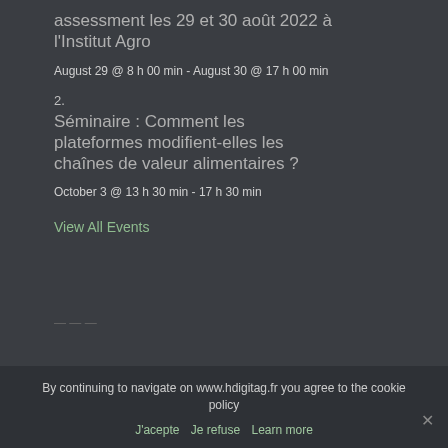assessment les 29 et 30 août 2022 à l'Institut Agro
August 29 @ 8 h 00 min - August 30 @ 17 h 00 min
2.
Séminaire : Comment les plateformes modifient-elles les chaînes de valeur alimentaires ?
October 3 @ 13 h 30 min - 17 h 30 min
View All Events
By continuing to navigate on www.hdigitag.fr you agree to the cookie policy
J'acepte   Je refuse   Learn more